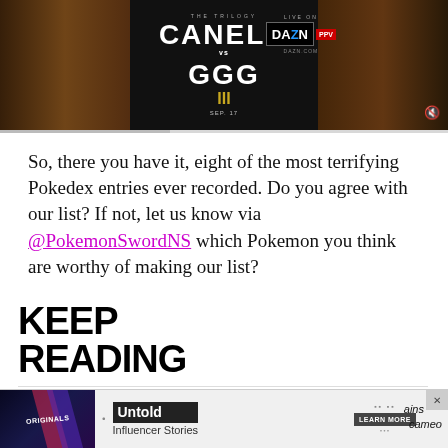[Figure (photo): Canelo vs GGG boxing advertisement banner with DAZN PPV branding on dark background]
So, there you have it, eight of the most terrifying Pokedex entries ever recorded. Do you agree with our list? If not, let us know via @PokemonSwordNS which Pokemon you think are worthy of making our list?
KEEP READING
[Figure (photo): Thumbnail image with dark-toned faces for TV & MOVIES article]
TV & MOVIES
[Figure (photo): Bottom advertisement: Originals / Untold Influencer Stories / Learn More / cameo]